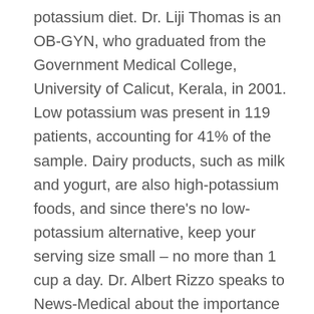potassium diet. Dr. Liji Thomas is an OB-GYN, who graduated from the Government Medical College, University of Calicut, Kerala, in 2001. Low potassium was present in 119 patients, accounting for 41% of the sample. Dairy products, such as milk and yogurt, are also high-potassium foods, and since there's no low-potassium alternative, keep your serving size small – no more than 1 cup a day. Dr. Albert Rizzo speaks to News-Medical about the importance of wearing masks to help control the spread of COVID-19. A 3-ounce serving of canned tuna contains 200 milligrams of potassium and 22 grams of protein, though most other types of seafood should be avoided. Boiling vegetables before consumption releases much of their potassium. Now he needs to restrict his carbs too!! Now a new study by an Italian team of researchers published in June 2020 on the